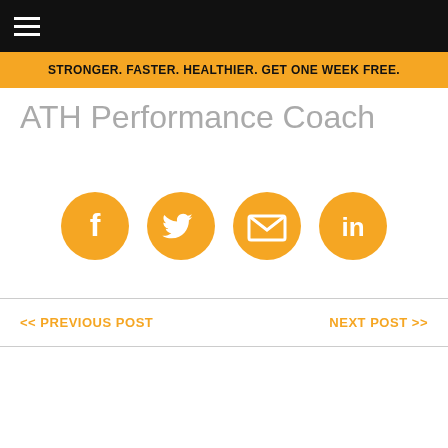STRONGER. FASTER. HEALTHIER. GET ONE WEEK FREE.
ATH Performance Coach
[Figure (infographic): Four golden circular social media icon buttons: Facebook (f), Twitter (bird), Email (envelope), LinkedIn (in)]
<< PREVIOUS POST    NEXT POST >>